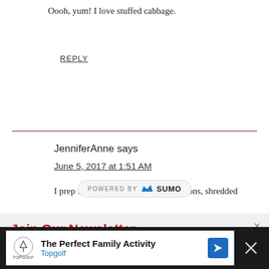Oooh, yum! I love stuffed cabbage.
REPLY
JenniferAnne says
June 5, 2017 at 1:51 AM
I prep for Taco Night — chopped onions, shredded
[Figure (other): POWERED BY SUMO logo bar]
Join Our Newsletter
Free Delivery! Receive previews of recipes, printables, and other fun news.
Enter your email address
[Figure (other): Topgolf advertisement banner: The Perfect Family Activity - Topgolf]